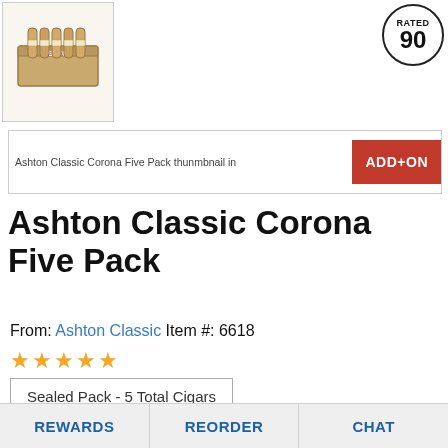[Figure (photo): Ashton Classic Corona Five Pack product thumbnail — cigars in a box]
RATED 90
[Figure (screenshot): Ashton Classic Corona Five Pack thumbnail image with ADD+ON badge]
Ashton Classic Corona Five Pack
From: Ashton Classic  Item #: 6618
★★★★★
Sealed Pack - 5 Total Cigars
$49.99
$52.00 MSRP
+ ADD+ON DEAL
SAVE $7.00 COMPARED TO BUYING SEPARATELY
[Figure (logo): Best Price Guarantee — 30-Day Price Protection badge]
REWARDS   REORDER   CHAT